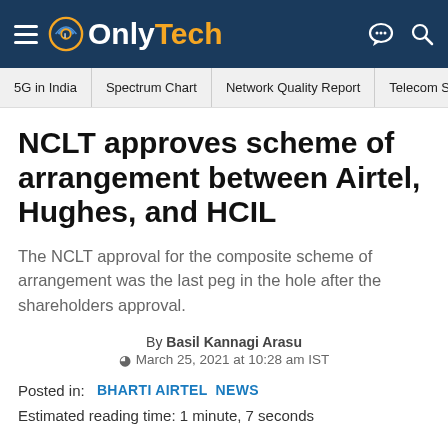OnlyTech — navigation header with hamburger menu, logo, chat and search icons
5G in India | Spectrum Chart | Network Quality Report | Telecom Si >
NCLT approves scheme of arrangement between Airtel, Hughes, and HCIL
The NCLT approval for the composite scheme of arrangement was the last peg in the hole after the shareholders approval.
By Basil Kannagi Arasu
© March 25, 2021 at 10:28 am IST
Posted in: BHARTI AIRTEL  NEWS
Estimated reading time: 1 minute, 7 seconds